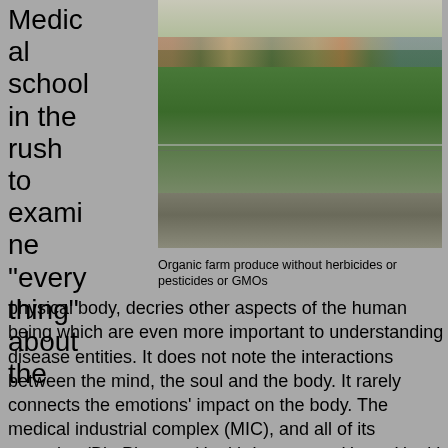Medical school in the rush to examine "everything" about the
[Figure (photo): Outdoor organic farm garden with lush green plants growing in raised stone wall beds, wire fencing visible, people visible in background near a building with a market sign]
Organic farm produce without herbicides or pesticides or GMOs
physical body, decries other aspects of the human being which are even more important to understanding disease entities. It does not note the interactions between the mind, the soul and the body. It rarely connects the emotions' impact on the body. The medical industrial complex (MIC), and all of its tentacles (Big Pharma, Health Insurance, Home Health Care, Assisted Living Centers, Rehabilitation Facilities, et. al.), don't deal with encouraging health and wellness. Few insurance companies encourage through cost savings their clients' fitness, clean nutrition or wellness lifestyle to prevent disease.